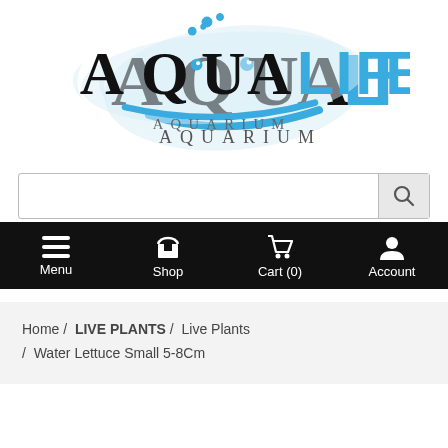[Figure (logo): AquaLife Aquarium logo with stylized fish silhouette, black and blue lettering, bubbles, text reads AQUA LIFE AQUARIUM]
[Figure (screenshot): Search bar with search button icon on the right]
[Figure (screenshot): Black navigation bar with Menu, Shop, Cart (0), Account icons and labels]
Home / LIVE PLANTS / Live Plants / Water Lettuce Small 5-8Cm